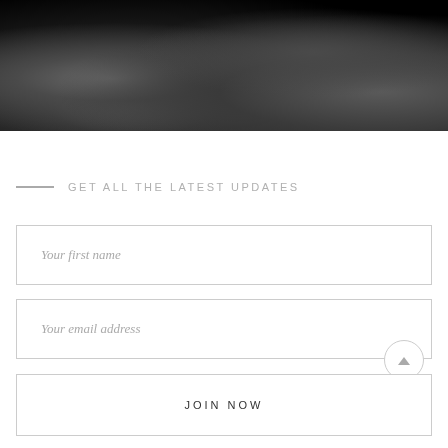[Figure (photo): Black and white photograph showing a person's hand and legs wearing a knit sweater, seated near what appears to be wooden furniture, against a dark background]
GET ALL THE LATEST UPDATES
Your first name
Your email address
JOIN NOW